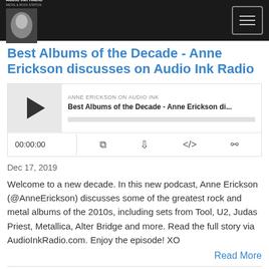AUDIO INK RADIO
Best Albums of the Decade - Anne Erickson discusses on Audio Ink Radio
[Figure (other): Podcast audio player widget with play button, track title 'Best Albums of the Decade - Anne Erickson di...', station label 'ANNE ERICKSON ON AUDIO INK', progress bar, time display 00:00:00, and control icons for RSS, download, embed, and share.]
Dec 17, 2019
Welcome to a new decade. In this new podcast, Anne Erickson (@AnneErickson) discusses some of the greatest rock and metal albums of the 2010s, including sets from Tool, U2, Judas Priest, Metallica, Alter Bridge and more. Read the full story via AudioInkRadio.com. Enjoy the episode! XO
Read More
Top Songs of 2019 - Anne Erickson